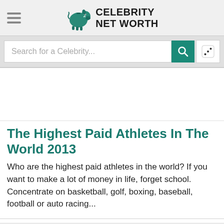Celebrity Net Worth
Search for a Celebrity...
The Highest Paid Athletes In The World 2013
Who are the highest paid athletes in the world? If you want to make a lot of money in life, forget school. Concentrate on basketball, golf, boxing, baseball, football or auto racing...